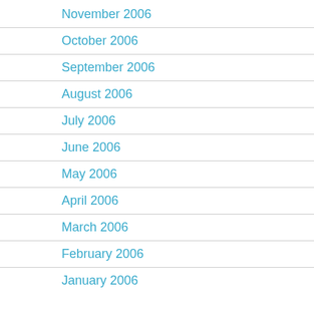November 2006
October 2006
September 2006
August 2006
July 2006
June 2006
May 2006
April 2006
March 2006
February 2006
January 2006